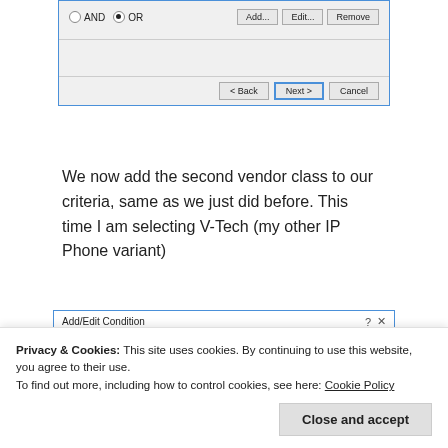[Figure (screenshot): Top portion of a Windows dialog with AND/OR radio buttons, Add/Edit/Remove buttons, and Back/Next/Cancel navigation buttons at the bottom.]
We now add the second vendor class to our criteria, same as we just did before. This time I am selecting V-Tech (my other IP Phone variant)
[Figure (screenshot): Add/Edit Condition dialog window showing Criteria dropdown set to 'Vendor Class' and Operator dropdown set to 'Equals'.]
Privacy & Cookies: This site uses cookies. By continuing to use this website, you agree to their use.
To find out more, including how to control cookies, see here: Cookie Policy
Close and accept